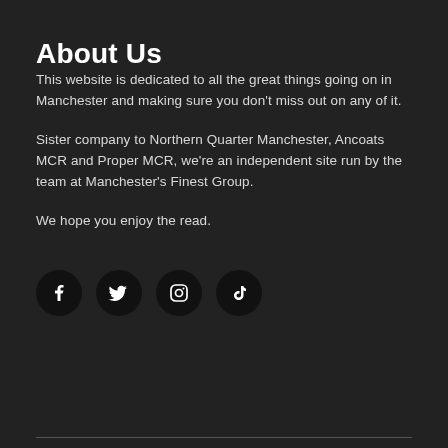About Us
This website is dedicated to all the great things going on in Manchester and making sure you don’t miss out on any of it.
Sister company to Northern Quarter Manchester, Ancoats MCR and Proper MCR, we’re an independent site run by the team at Manchester’s Finest Group.
We hope you enjoy the read.
[Figure (illustration): Four circular social media icons (Facebook, Twitter, Instagram, TikTok) arranged horizontally on a dark background.]